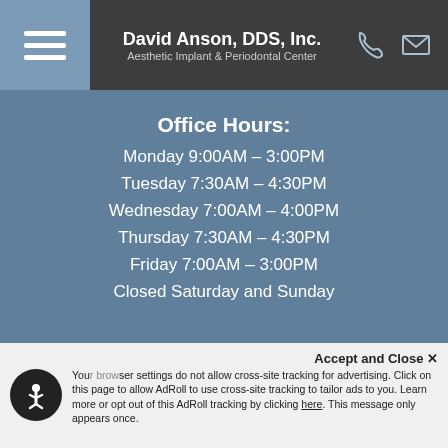David Anson, DDS, Inc. — Aesthetic Implant & Periodontal Center
Office Hours:
Monday 9:00AM – 3:00PM
Tuesday 7:30AM – 4:30PM
Wednesday 7:00AM – 4:00PM
Thursday 7:30AM – 4:30PM
Friday 7:00AM – 3:00PM
Closed Saturday and Sunday
Get Connected:
[Figure (illustration): Social media icons: Facebook, Instagram, Yelp]
Accept and Close ✕ Your browser settings do not allow cross-site tracking for advertising. Click on this page to allow AdRoll to use cross-site tracking to tailor ads to you. Learn more or opt out of this AdRoll tracking by clicking here. This message only appears once.